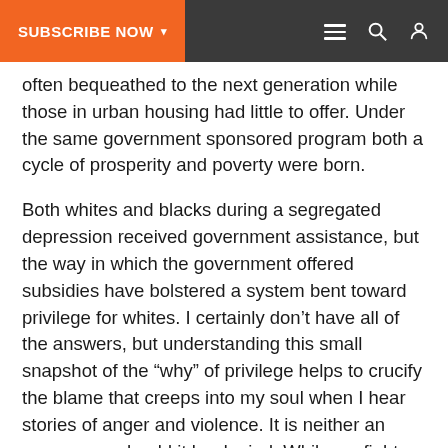SUBSCRIBE NOW ▾
often bequeathed to the next generation while those in urban housing had little to offer. Under the same government sponsored program both a cycle of prosperity and poverty were born.
Both whites and blacks during a segregated depression received government assistance, but the way in which the government offered subsidies have bolstered a system bent toward privilege for whites. I certainly don't have all of the answers, but understanding this small snapshot of the “why” of privilege helps to crucify the blame that creeps into my soul when I hear stories of anger and violence. It is neither an excuse nor should it be denied. While we fight the good fight for justice for all, maybe we should broaden the focus of a heated